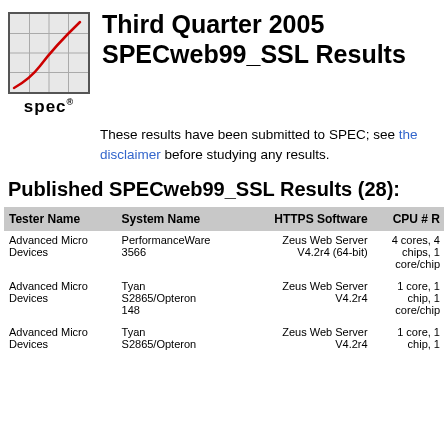[Figure (logo): SPEC logo: grid chart with red curve, with 'spec' text below]
Third Quarter 2005 SPECweb99_SSL Results
These results have been submitted to SPEC; see the disclaimer before studying any results.
Published SPECweb99_SSL Results (28):
| Tester Name | System Name | HTTPS Software | CPU # R |
| --- | --- | --- | --- |
| Advanced Micro Devices | PerformanceWare 3566 | Zeus Web Server V4.2r4 (64-bit) | 4 cores, 4 chips, 1 core/chip |
| Advanced Micro Devices | Tyan S2865/Opteron 148 | Zeus Web Server V4.2r4 | 1 core, 1 chip, 1 core/chip |
| Advanced Micro Devices | Tyan S2865/Opteron | Zeus Web Server V4.2r4 | 1 core, 1 chip, 1 |